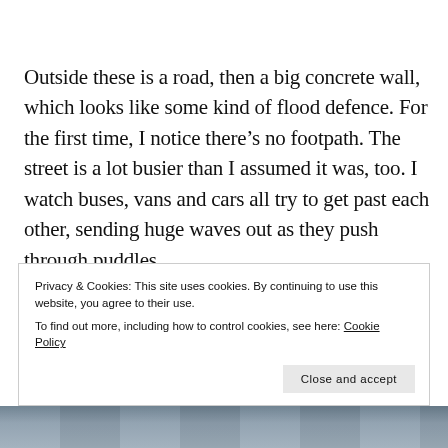Outside these is a road, then a big concrete wall, which looks like some kind of flood defence. For the first time, I notice there's no footpath. The street is a lot busier than I assumed it was, too. I watch buses, vans and cars all try to get past each other, sending huge waves out as they push through puddles
Privacy & Cookies: This site uses cookies. By continuing to use this website, you agree to their use.
To find out more, including how to control cookies, see here: Cookie Policy
[Figure (photo): Partial photo strip visible at bottom of page, appearing to show a street or building scene in muted blue-grey tones]